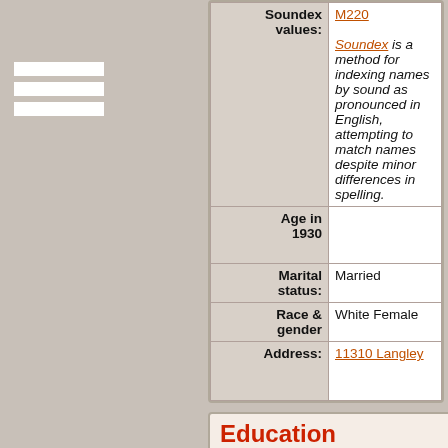| Field | Value |
| --- | --- |
| Soundex values: | M220
Soundex is a method for indexing names by sound as pronounced in English, attempting to match names despite minor differences in spelling. |
| Age in 1930 |  |
| Marital status: | Married |
| Race & gender | White Female |
| Address: | 11310 Langley |
Education